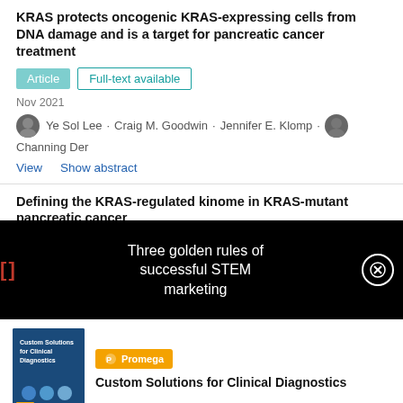KRAS protects oncogenic KRAS-expressing cells from DNA damage and is a target for pancreatic cancer treatment
Article   Full-text available
Nov 2021
Ye Sol Lee · Craig M. Goodwin · Jennifer E. Klomp · Channing Der
View   Show abstract
Defining the KRAS-regulated kinome in KRAS-mutant pancreatic cancer
[Figure (other): Overlay banner on black background with red bracket icon and text: Three golden rules of successful STEM marketing, with a close (X) button]
[Figure (other): Advertisement for Custom Solutions for Clinical Diagnostics by Promega, showing book cover on the left and Promega logo with title on the right]